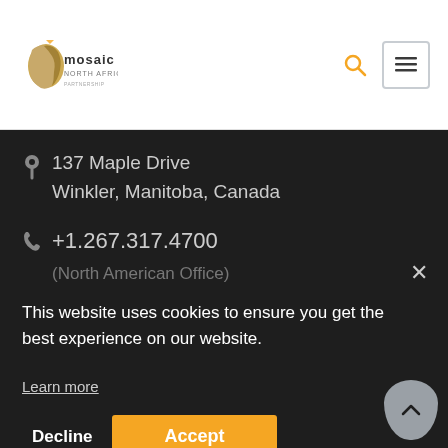[Figure (logo): Mosaic North Africa logo with Africa continent icon and text]
137 Maple Drive
Winkler, Manitoba, Canada
+1.267.317.4700
(North American Office)
This website uses cookies to ensure you get the best experience on our website.
Learn more
Decline
Accept